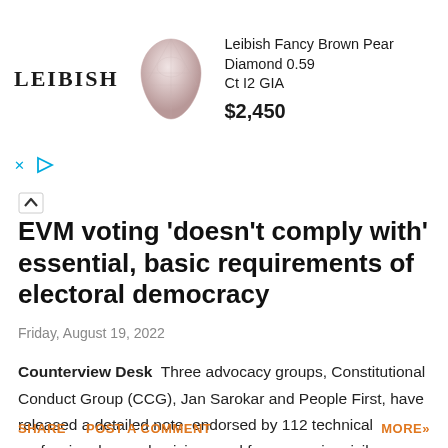[Figure (other): Leibish advertisement banner showing a pear-shaped fancy brown diamond with text 'Leibish Fancy Brown Pear Diamond 0.59 Ct I2 GIA' and price '$2,450']
EVM voting 'doesn't comply with' essential, basic requirements of electoral democracy
Friday, August 19, 2022
Counterview Desk  Three advocacy groups, Constitutional Conduct Group (CCG), Jan Sarokar and People First, have released a detailed note, endorsed by 112 technical professionals, academicians and former senior civil servants ...
SHARE  POST A COMMENT  MORE»